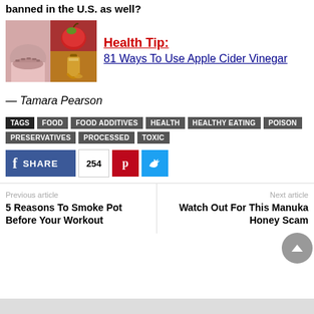banned in the U.S. as well?
[Figure (photo): Collage: tongue sticking out on left, apple and apple cider vinegar bottle on top right, liquid pouring on bottom right]
Health Tip:
81 Ways To Use Apple Cider Vinegar
— Tamara Pearson
TAGS  FOOD  FOOD ADDITIVES  HEALTH  HEALTHY EATING  POISON  PRESERVATIVES  PROCESSED  TOXIC
SHARE  254
Previous article
5 Reasons To Smoke Pot Before Your Workout
Next article
Watch Out For This Manuka Honey Scam